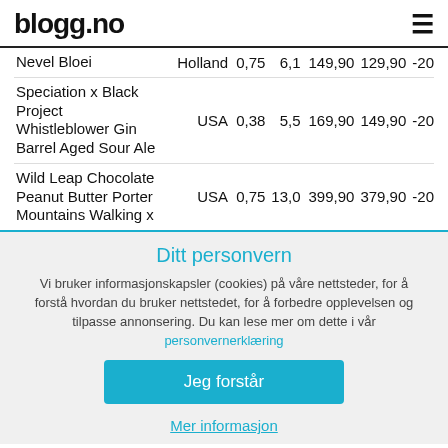blogg.no
| Name | Country | Vol | Alc | Old Price | New Price | Discount |
| --- | --- | --- | --- | --- | --- | --- |
| Nevel Bloei | Holland | 0,75 | 6,1 | 149,90 | 129,90 | -20 |
| Speciation x Black Project Whistleblower Gin Barrel Aged Sour Ale | USA | 0,38 | 5,5 | 169,90 | 149,90 | -20 |
| Wild Leap Chocolate Peanut Butter Porter Mountains Walking x | USA | 0,75 | 13,0 | 399,90 | 379,90 | -20 |
Ditt personvern
Vi bruker informasjonskapsler (cookies) på våre nettsteder, for å forstå hvordan du bruker nettstedet, for å forbedre opplevelsen og tilpasse annonsering. Du kan lese mer om dette i vår personvernerklæring
Jeg forstår
Mer informasjon